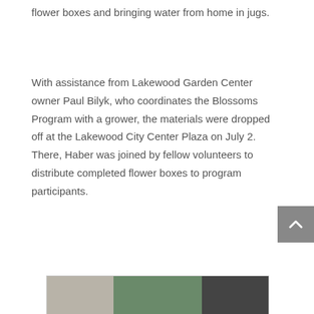flower boxes and bringing water from home in jugs.
With assistance from Lakewood Garden Center owner Paul Bilyk, who coordinates the Blossoms Program with a grower, the materials were dropped off at the Lakewood City Center Plaza on July 2.  There, Haber was joined by fellow volunteers to distribute completed flower boxes to program participants.
[Figure (photo): A photograph showing people at what appears to be an outdoor location, partially cropped at the bottom of the page.]